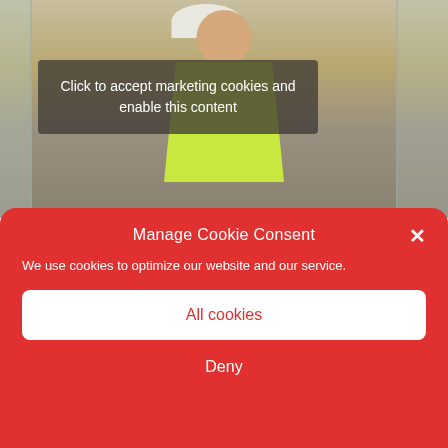[Figure (photo): A construction worker wearing a yellow high-visibility vest and white hard hat, standing inside a building with glass partition walls in the background. A dark semi-transparent overlay box with white text reads: 'Click to accept marketing cookies and enable this content'.]
Click to accept marketing cookies and enable this content
Manage Cookie Consent
We use cookies to optimize our website and our service.
All cookies
Deny